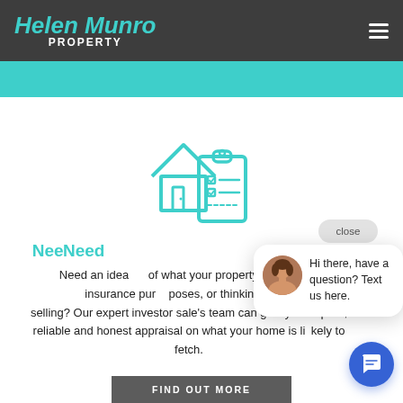Helen Munro PROPERTY
[Figure (illustration): House with clipboard checklist icon in teal outline style]
Need
Need an idea of what your property is worth for insurance purposes, or thinking about selling? Our expert investor sale's team can give you a quick, reliable and honest appraisal on what your home is likely to fetch.
[Figure (other): Chat popup with avatar photo of woman and text: Hi there, have a question? Text us here. With close button and blue chat icon.]
FIND OUT MORE